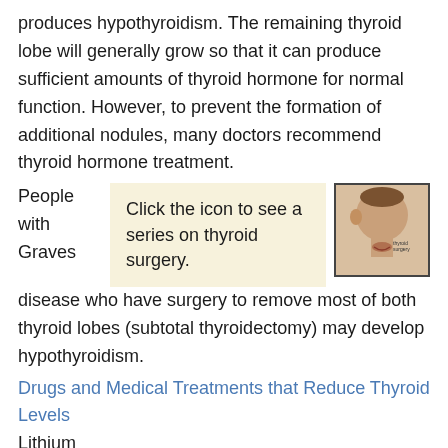produces hypothyroidism. The remaining thyroid lobe will generally grow so that it can produce sufficient amounts of thyroid hormone for normal function. However, to prevent the formation of additional nodules, many doctors recommend thyroid hormone treatment.
People with Graves
[Figure (illustration): Click the icon to see a series on thyroid surgery. Illustration of thyroid surgery area on a human neck/head.]
disease who have surgery to remove most of both thyroid lobes (subtotal thyroidectomy) may develop hypothyroidism.
Drugs and Medical Treatments that Reduce Thyroid Levels
Lithium
A drug used to treat bipolar disorder, has multiple effects on thyroid hormone synthesis and secretion. Many people treated with lithium go on to develop hypothyroidism and some develop a goiter. Most people develop subclinical